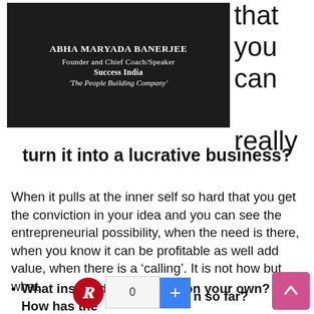[Figure (other): Dark background image with text overlay: 'Abha Maryada Banerjee, Founder and Chief Coach/Speaker, SUCCESS INDIA, The People Building Company']
that you can really turn it into a lucrative business?
When it pulls at the inner self so hard that you get the conviction in your idea and you can see the entrepreneurial possibility, when the need is there, when you know it can be profitable as well add value, when there is a ‘calling’. It is not how but what.
What inspired you to start on your own? How has the journey been so far?